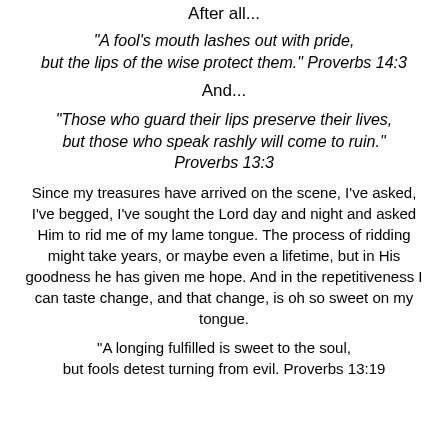After all...
"A fool's mouth lashes out with pride, but the lips of the wise protect them." Proverbs 14:3
And...
"Those who guard their lips preserve their lives, but those who speak rashly will come to ruin." Proverbs 13:3
Since my treasures have arrived on the scene, I've asked, I've begged, I've sought the Lord day and night and asked Him to rid me of my lame tongue. The process of ridding might take years, or maybe even a lifetime, but in His goodness he has given me hope. And in the repetitiveness I can taste change, and that change, is oh so sweet on my tongue.
"A longing fulfilled is sweet to the soul, but fools detest turning from evil. Proverbs 13:19